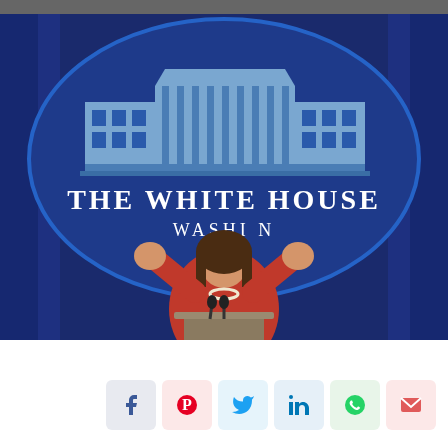[Figure (photo): A woman in a red jacket with pearl necklace speaks at a podium with microphones in the White House briefing room. Behind her is the large White House seal showing the building and the text 'THE WHITE HOUSE WASHINGTON' on a dark navy blue background.]
[Figure (infographic): A row of six social media sharing buttons: Facebook (blue icon), Pinterest (red icon), Twitter (blue bird icon), LinkedIn (blue icon), WhatsApp (green icon), Email (red envelope icon).]